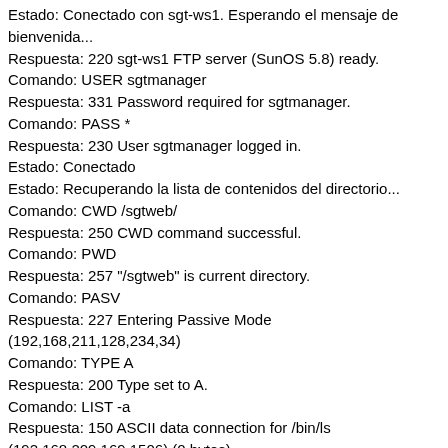Estado: Conectado con sgt-ws1. Esperando el mensaje de bienvenida...
Respuesta: 220 sgt-ws1 FTP server (SunOS 5.8) ready.
Comando: USER sgtmanager
Respuesta: 331 Password required for sgtmanager.
Comando: PASS *
Respuesta: 230 User sgtmanager logged in.
Estado: Conectado
Estado: Recuperando la lista de contenidos del directorio...
Comando: CWD /sgtweb/
Respuesta: 250 CWD command successful.
Comando: PWD
Respuesta: 257 "/sgtweb" is current directory.
Comando: PASV
Respuesta: 227 Entering Passive Mode (192,168,211,128,234,34)
Comando: TYPE A
Respuesta: 200 Type set to A.
Comando: LIST -a
Respuesta: 150 ASCII data connection for /bin/ls (192.168.209.169,1506) (0 bytes).
Trace: total 7564
Trace: drwxrwxrwx 7 sgtmanager sgtdes 1024 sep 18 09:16 .
Trace: drwxr-xr-x 36 root root 1536 dic 5 13:16